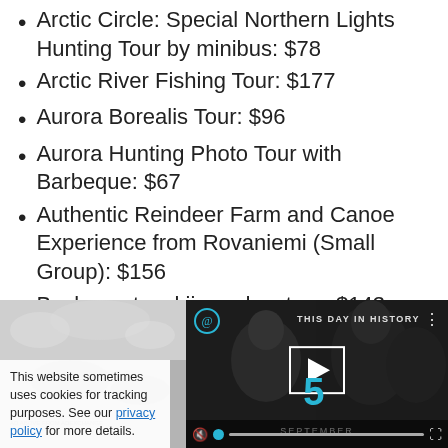Arctic Circle: Special Northern Lights Hunting Tour by minibus: $78
Arctic River Fishing Tour: $177
Aurora Borealis Tour: $96
Aurora Hunting Photo Tour with Barbeque: $67
Authentic Reindeer Farm and Canoe Experience from Rovaniemi (Small Group): $156
Backcountry skiing adventure: $143
[Figure (photo): Snowy landscape photo on left; video thumbnail on right showing 'This Day in History' with September 5 and a play button, with cookie notice overlay]
This website sometimes uses cookies for tracking purposes. See our privacy policy for more details.